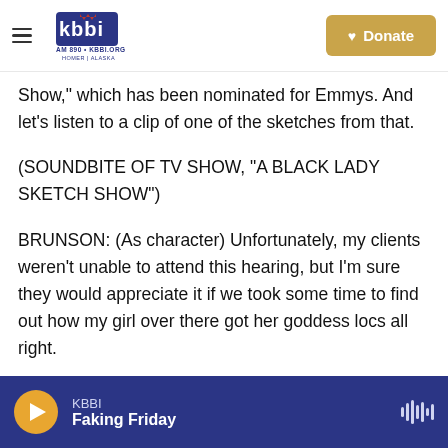KBBI AM 890 • KBBI.ORG HOMER ALASKA | Donate
Show," which has been nominated for Emmys. And let's listen to a clip of one of the sketches from that.
(SOUNDBITE OF TV SHOW, "A BLACK LADY SKETCH SHOW")
BRUNSON: (As character) Unfortunately, my clients weren't unable to attend this hearing, but I'm sure they would appreciate it if we took some time to find out how my girl over there got her goddess locs all right.
UNIDENTIFIED ACTOR #1: (As character) Thank you, girl
KBBI | Faking Friday